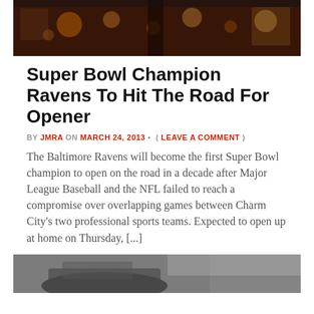[Figure (photo): Dark interior photo of a bar or restaurant with warm lights visible]
Super Bowl Champion Ravens To Hit The Road For Opener
BY JMRA ON MARCH 24, 2013 • ( LEAVE A COMMENT )
The Baltimore Ravens will become the first Super Bowl champion to open on the road in a decade after Major League Baseball and the NFL failed to reach a compromise over overlapping games between Charm City's two professional sports teams. Expected to open up at home on Thursday, [...]
[Figure (photo): Partial photo at bottom of page, appears to be a dark image of a vehicle or outdoor scene]